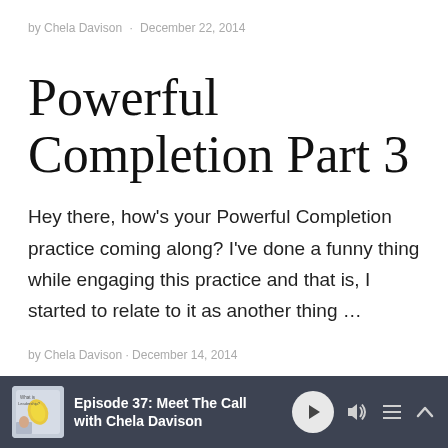by Chela Davison · December 22, 2014
Powerful Completion Part 3
Hey there, how's your Powerful Completion practice coming along? I've done a funny thing while engaging this practice and that is, I started to relate to it as another thing …
by Chela Davison · December 14, 2014
[Figure (other): Podcast player bar showing episode thumbnail, Episode 37: Meet The Call with Chela Davison, play button, volume icon, playlist icon, and chevron up icon on dark background]